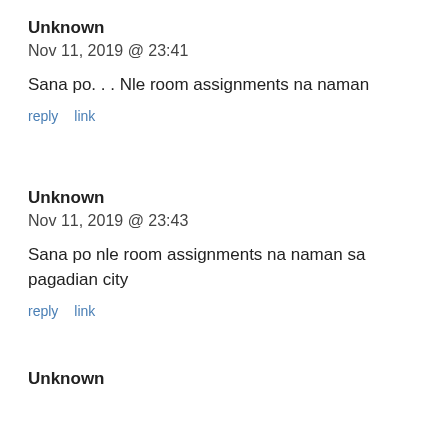Unknown
Nov 11, 2019 @ 23:41
Sana po. . . Nle room assignments na naman
reply   link
Unknown
Nov 11, 2019 @ 23:43
Sana po nle room assignments na naman sa pagadian city
reply   link
Unknown